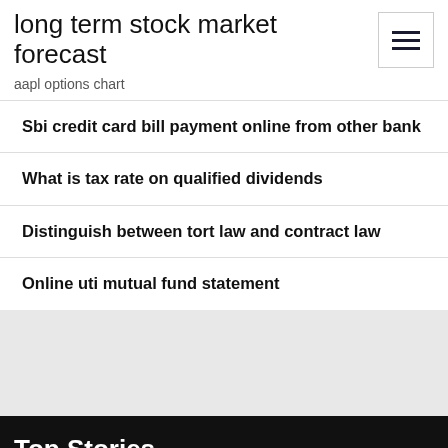long term stock market forecast
aapl options chart
Sbi credit card bill payment online from other bank
What is tax rate on qualified dividends
Distinguish between tort law and contract law
Online uti mutual fund statement
Top Stories